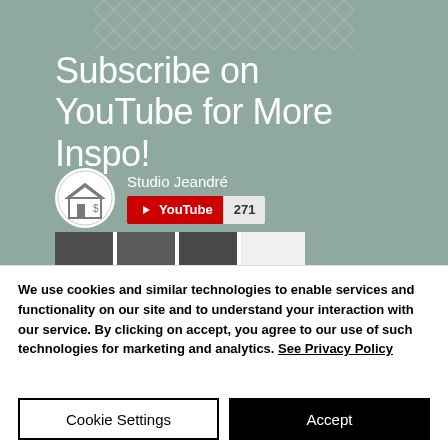[Figure (screenshot): Screenshot of a YouTube channel page for 'Studio Jeandré' with a grey-green background showing 'Subscribe on YouTube for More Inspo!' text, channel logo, YouTube subscribe button with 271 subscribers, and a video thumbnail preview strip.]
We use cookies and similar technologies to enable services and functionality on our site and to understand your interaction with our service. By clicking on accept, you agree to our use of such technologies for marketing and analytics. See Privacy Policy
Cookie Settings
Accept